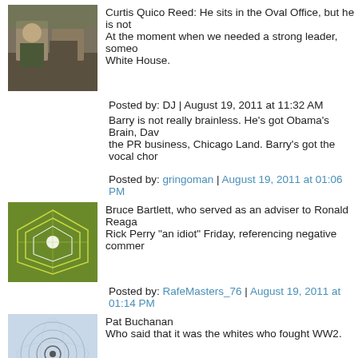[Figure (photo): Military photo avatar of Curtis Quico Reed]
Curtis Quico Reed: He sits in the Oval Office, but he is not... At the moment when we needed a strong leader, someo... White House.
Posted by: DJ | August 19, 2011 at 11:32 AM
Barry is not really brainless. He's got Obama's Brain, Dav... the PR business, Chicago Land. Barry's got the vocal chor...
Posted by: gringoman | August 19, 2011 at 01:06 PM
[Figure (photo): Green geometric pattern avatar for RafeMasters_76]
Bruce Bartlett, who served as an adviser to Ronald Reaga... Rick Perry "an idiot" Friday, referencing negative commer...
Posted by: RafeMasters_76 | August 19, 2011 at 01:14 PM
[Figure (photo): Blue spiral pattern avatar]
Pat Buchanan
Who said that it was the whites who fought WW2.
Unless you count the Imperial Army of Japan, he was spot...
Blacks fought in the Watts riots and in various Flash mob a...